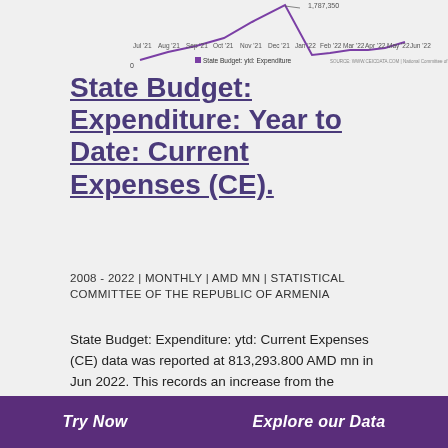[Figure (line-chart): Line chart showing State Budget: Expenditure year to date from Jul 2021 to Jun 2022, with a peak around Dec 2021 labeled 1,787,350.]
State Budget: Expenditure: Year to Date: Current Expenses (CE).
2008 - 2022 | MONTHLY | AMD MN | STATISTICAL COMMITTEE OF THE REPUBLIC OF ARMENIA
State Budget: Expenditure: ytd: Current Expenses (CE) data was reported at 813,293.800 AMD mn in Jun 2022. This records an increase from the previous number of 680,745.100 AMD mn for May 2022. State Budget: Expenditure: ytd: Current Expenses (CE) data is updated monthly, averaging 513,165.800 AMD mn from Jan 2008 to Jun 2022, with 174 observations. The data reached an all-time high of 1,787,892.100 AMD mn in Dec 2021 and a record low of 33,119.600 AMD mn in Jan 2008.
Try Now   Explore our Data